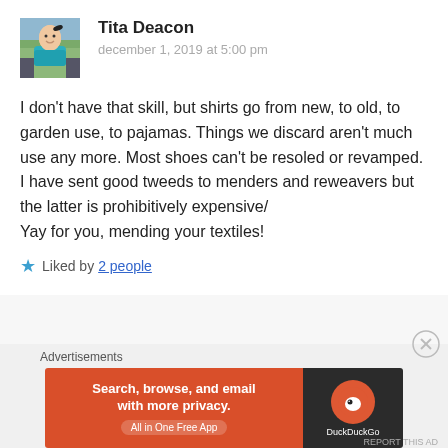[Figure (photo): Profile photo of Tita Deacon, a woman in a teal shirt standing outdoors near water/marshland]
Tita Deacon
december 1, 2019 at 5:00 pm
I don't have that skill, but shirts go from new, to old, to garden use, to pajamas. Things we discard aren't much use any more. Most shoes can't be resoled or revamped. I have sent good tweeds to menders and reweavers but the latter is prohibitively expensive/
Yay for you, mending your textiles!
Liked by 2 people
Advertisements
[Figure (screenshot): DuckDuckGo advertisement banner: 'Search, browse, and email with more privacy. All in One Free App' on orange background with DuckDuckGo logo on dark background]